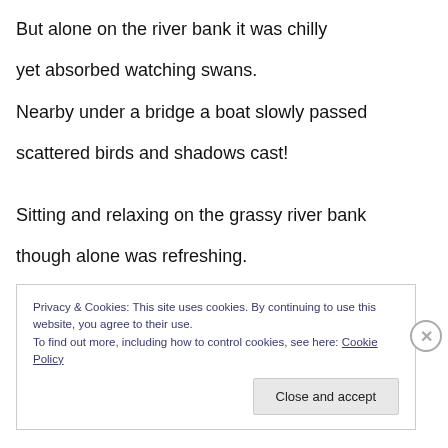But alone on the river bank it was chilly
yet absorbed watching swans.
Nearby under a bridge a boat slowly passed
scattered birds and shadows cast!
Sitting and relaxing on the grassy river bank
though alone was refreshing.
Privacy & Cookies: This site uses cookies. By continuing to use this website, you agree to their use.
To find out more, including how to control cookies, see here: Cookie Policy